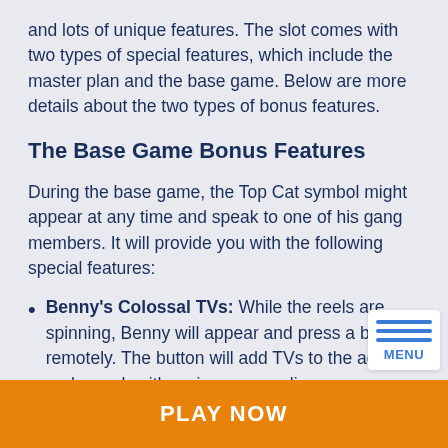and lots of unique features. The slot comes with two types of special features, which include the master plan and the base game. Below are more details about the two types of bonus features.
The Base Game Bonus Features
During the base game, the Top Cat symbol might appear at any time and speak to one of his gang members. It will provide you with the following special features:
Benny's Colossal TVs: While the reels are spinning, Benny will appear and press a button remotely. The button will add TVs to the active reels, each with an icon concealing an anonymous prize.
PLAY NOW